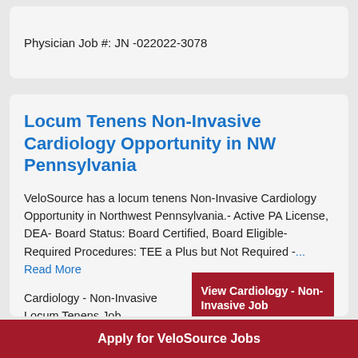Physician Job #: JN -022022-3078
Locum Tenens Non-Invasive Cardiology Opportunity in NW Pennsylvania
VeloSource has a locum tenens Non-Invasive Cardiology Opportunity in Northwest Pennsylvania.- Active PA License, DEA- Board Status: Board Certified, Board Eligible- Required Procedures: TEE a Plus but Not Required -... Read More
Cardiology - Non-Invasive Locum Tenens Job
View Cardiology - Non-Invasive Job
Apply for VeloSource Jobs